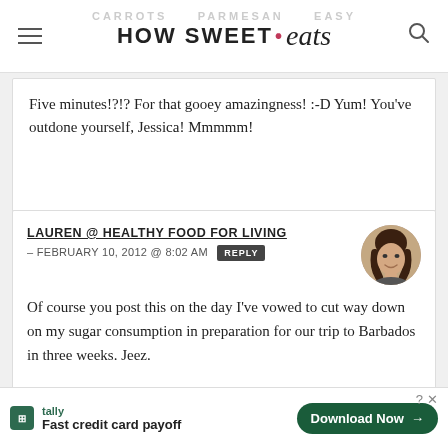HOW SWEET • eats
Five minutes!?!? For that gooey amazingness! :-D Yum! You've outdone yourself, Jessica! Mmmmm!
LAUREN @ HEALTHY FOOD FOR LIVING – FEBRUARY 10, 2012 @ 8:02 AM REPLY
Of course you post this on the day I've vowed to cut way down on my sugar consumption in preparation for our trip to Barbados in three weeks. Jeez.
tally Fast credit card payoff Download Now →